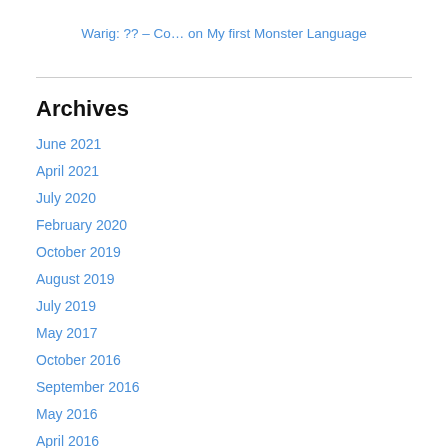Warig: ?? – Co… on My first Monster Language
Archives
June 2021
April 2021
July 2020
February 2020
October 2019
August 2019
July 2019
May 2017
October 2016
September 2016
May 2016
April 2016
March 2016